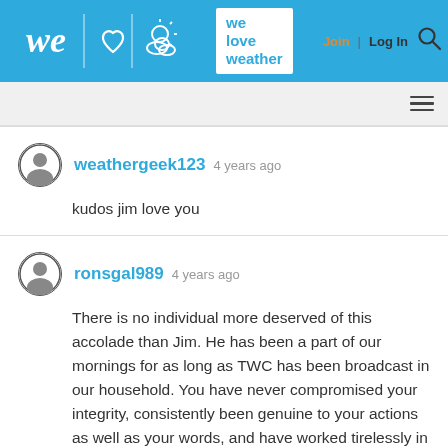[Figure (screenshot): We Love Weather website header with logo showing 'we', heart icon, sun/cloud icon, and text 'we love weather' on blue background. Join and Log In links plus search icon on right.]
weathergeek123 4 years ago
kudos jim love you
ronsgal989 4 years ago
There is no individual more deserved of this accolade than Jim. He has been a part of our mornings for as long as TWC has been broadcast in our household. You have never compromised your integrity, consistently been genuine to your actions as well as your words, and have worked tirelessly in the face of peril. Congratulations!